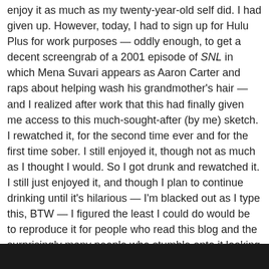enjoy it as much as my twenty-year-old self did. I had given up. However, today, I had to sign up for Hulu Plus for work purposes — oddly enough, to get a decent screengrab of a 2001 episode of SNL in which Mena Suvari appears as Aaron Carter and raps about helping wash his grandmother's hair — and I realized after work that this had finally given me access to this much-sought-after (by me) sketch. I rewatched it, for the second time ever and for the first time sober. I still enjoyed it, though not as much as I thought I would. So I got drunk and rewatched it. I still just enjoyed it, and though I plan to continue drinking until it's hilarious — I'm blacked out as I type this, BTW — I figured the least I could do would be to reproduce it for people who read this blog and the surprisingly many people who stumble onto it looking for Glenda Goodwin. I'm not sure how to steal Hulu's magic and reproduce the video itself, so I felt the best I could do would be screengrabs and a synopsis, which, yes, would hammer Maya Rudolph's comic timing into plain text but at least would get the point across. So here, then, in the best way I can imagine, is "Glenda Goodwin, Attorney at Law."
[Figure (photo): Dark/black image bar at the bottom of the page, appearing to be a screenshot from a video]